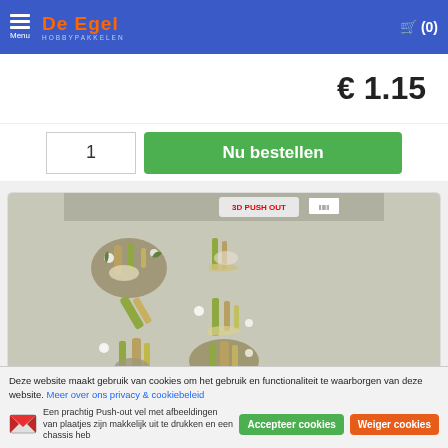Menu | De Egel Hobbypakkelen | Cart (0)
€ 1.15
1  Nu bestellen
[Figure (photo): Product image of 3D Pushout sheet with champagne bottles, glasses and flowers arrangements - Amy Design Christmas Wishes Happy New Year]
3D Pushout - Amy Design - Christmas Wishes - Happy New Year
Deze website maakt gebruik van cookies om het gebruik en functionaliteit te waarborgen van deze website. Meer over ons privacy & cookiebeleid
Een prachtig Push-out vel met afbeeldingen van plaatjes zijn makkelijk uit te drukken en een chassis heb
Accepteer cookies
Weiger cookies